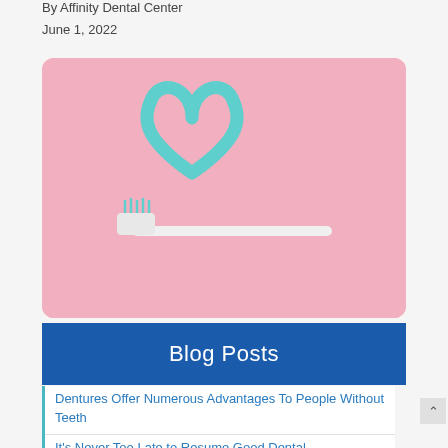By Affinity Dental Center
June 1, 2022
[Figure (photo): Pink background with a toothbrush and toothpaste squeezed into a heart shape, teal/mint colored toothpaste and a white toothbrush handle.]
Blog Posts
Dentures Offer Numerous Advantages To People Without Teeth
It's Never Too Late to Resume Good Dental